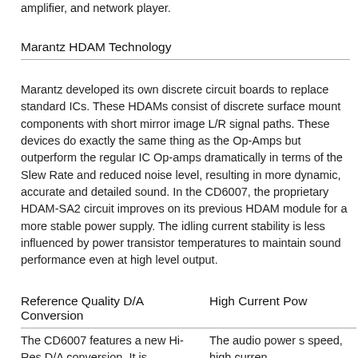amplifier, and network player.
Marantz HDAM Technology
Marantz developed its own discrete circuit boards to replace standard ICs. These HDAMs consist of discrete surface mount components with short mirror image L/R signal paths. These devices do exactly the same thing as the Op-Amps but outperform the regular IC Op-amps dramatically in terms of the Slew Rate and reduced noise level, resulting in more dynamic, accurate and detailed sound. In the CD6007, the proprietary HDAM-SA2 circuit improves on its previous HDAM module for a more stable power supply. The idling current stability is less influenced by power transistor temperatures to maintain sound performance even at high level output.
Reference Quality D/A Conversion
High Current Pow
The CD6007 features a new Hi-Res D/A conversion. It is equipped with a reference
The audio power s speed, high curren